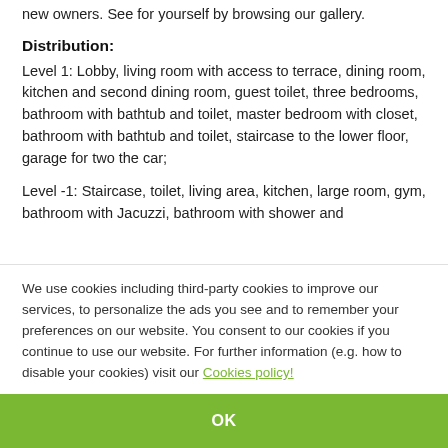new owners. See for yourself by browsing our gallery.
Distribution:
Level 1: Lobby, living room with access to terrace, dining room, kitchen and second dining room, guest toilet, three bedrooms, bathroom with bathtub and toilet, master bedroom with closet, bathroom with bathtub and toilet, staircase to the lower floor, garage for two the car;
Level -1: Staircase, toilet, living area, kitchen, large room, gym, bathroom with Jacuzzi, bathroom with shower and
We use cookies including third-party cookies to improve our services, to personalize the ads you see and to remember your preferences on our website. You consent to our cookies if you continue to use our website. For further information (e.g. how to disable your cookies) visit our Cookies policy!
OK